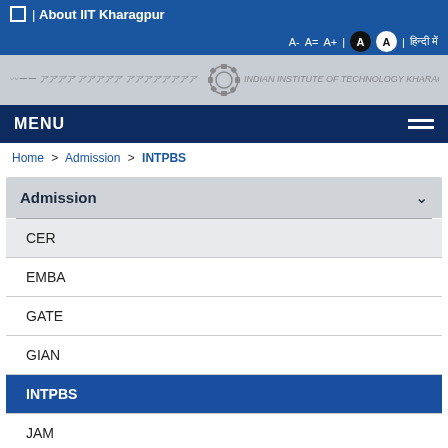About IIT Kharagpur
A- A= A+ | A A | हिन्दी में
MENU
Home > Admission > INTPBS
Admission
CER
EMBA
GATE
GIAN
INTPBS
JAM